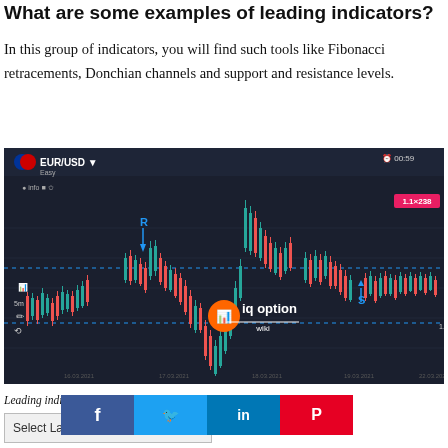What are some examples of leading indicators?
In this group of indicators, you will find such tools like Fibonacci retracements, Donchian channels and support and resistance levels.
[Figure (screenshot): IQ Option trading platform screenshot showing EUR/USD candlestick chart with support and resistance levels marked as R and S points, watermark reads 'iq option wiki']
Leading indicators for trading such as support/resistance ... g points